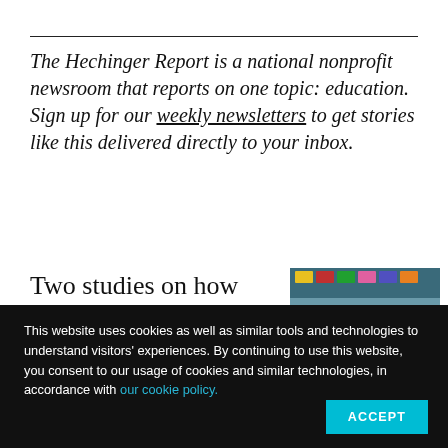The Hechinger Report is a national nonprofit newsroom that reports on one topic: education. Sign up for our weekly newsletters to get stories like this delivered directly to your inbox.
Two studies on how best to teach elementary schools
[Figure (photo): Children in a classroom, students and teacher visible from behind, bright colors, school setting]
This website uses cookies as well as similar tools and technologies to understand visitors' experiences. By continuing to use this website, you consent to our usage of cookies and similar technologies, in accordance with our cookie policy.